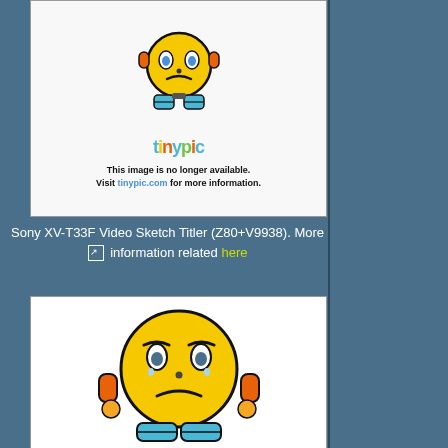[Figure (illustration): Tinypic placeholder image showing a cartoon robot emoji with sad face and the tinypic logo, with text: This image is no longer available. Visit tinypic.com for more information.]
Sony XV-T33F Video Sketch Titler (Z80+V9938). More information related here
[Figure (illustration): Tinypic placeholder image showing a cartoon sad face emoji with hands on cheeks.]